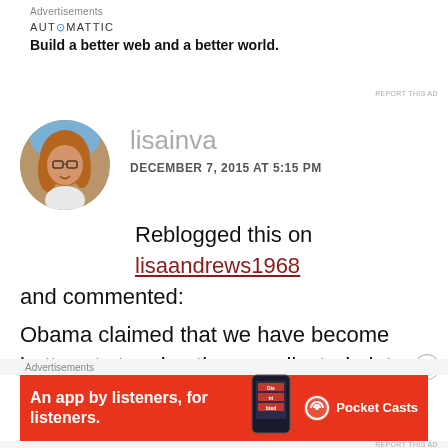Advertisements
[Figure (logo): Automattic logo with blue dot in letter O]
Build a better web and a better world.
REPORT THIS AD
lisainva
DECEMBER 7, 2015 AT 5:15 PM
Reblogged this on lisaandrews1968 and commented:
Obama claimed that we have become better at stopping the complicated plots like what happened on 9/11, so terrorists have turned to
Advertisements
[Figure (screenshot): Pocket Casts advertisement banner: An app by listeners, for listeners. Red background with phone graphic and Pocket Casts logo.]